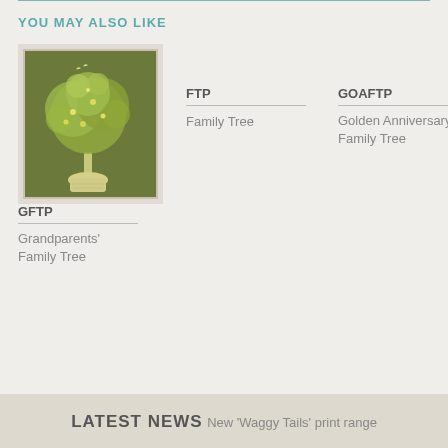YOU MAY ALSO LIKE
[Figure (photo): Framed print of a decorative family tree with green foliage on olive background, displayed in a white frame with books and flowers in background]
GFTP
Grandparents' Family Tree
FTP
Family Tree
GOAFTP
Golden Anniversary Family Tree
LATEST NEWS
New 'Waggy Tails' print range